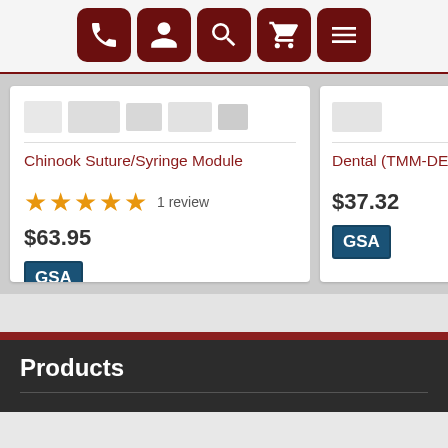[Figure (screenshot): Top navigation bar with five dark red rounded-square icon buttons: phone, person/account, search, shopping cart, and menu (hamburger)]
[Figure (screenshot): Product card for 'Chinook Suture/Syringe Module' showing product thumbnail strip, 5-star rating with 1 review, price $63.95, and GSA badge]
Chinook Suture/Syringe Module
1 review
$63.95
[Figure (screenshot): Partial product card for 'Dental (TMM-DE...' showing product thumbnail, price $37.32, GSA badge, and right navigation arrow]
Dental (TMM-DE
$37.32
Products